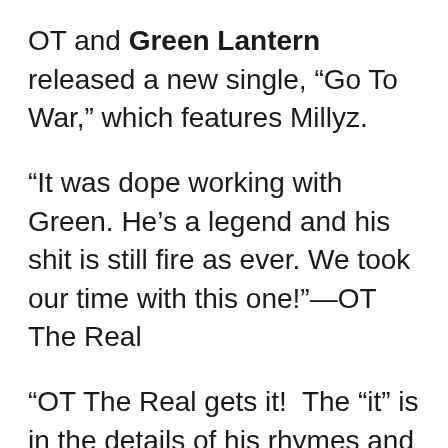OT and Green Lantern released a new single, “Go To War,” which features Millyz.
“It was dope working with Green. He’s a legend and his shit is still fire as ever. We took our time with this one!”—OT The Real
“OT The Real gets it!  The “it” is in the details of his rhymes and the authenticity!  That’s what caught my attention… I reached out and we locked